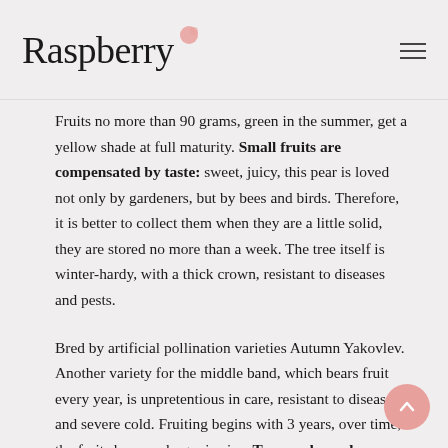Raspberry
Fruits no more than 90 grams, green in the summer, get a yellow shade at full maturity. Small fruits are compensated by taste: sweet, juicy, this pear is loved not only by gardeners, but by bees and birds. Therefore, it is better to collect them when they are a little solid, they are stored no more than a week. The tree itself is winter-hardy, with a thick crown, resistant to diseases and pests.
Bred by artificial pollination varieties Autumn Yakovlev. Another variety for the middle band, which bears fruit every year, is unpretentious in care, resistant to diseases and severe cold. Fruiting begins with 3 years, over time, the fruits become larger in size. Tree srednerosly, more